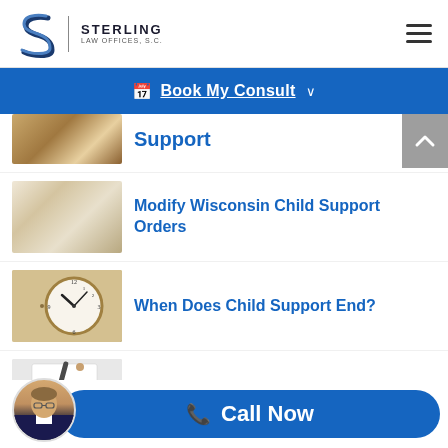Sterling Law Offices, S.C.
Book My Consult
Support
Modify Wisconsin Child Support Orders
When Does Child Support End?
How Child Support Impacts Taxes
Call Now